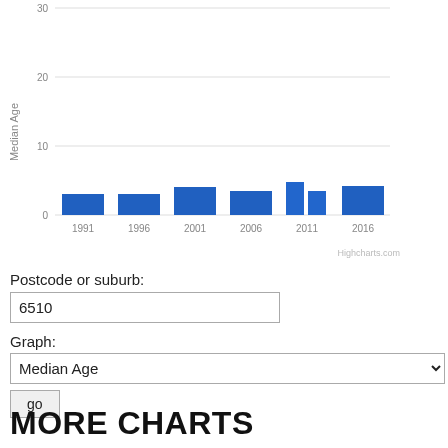[Figure (bar-chart): ]
Postcode or suburb:
6510
Graph:
Median Age
go
MORE CHARTS